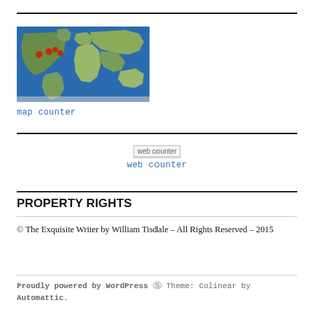[Figure (map): World map with satellite imagery showing red location markers clustered in North America/Central America region]
map counter
[Figure (other): Web counter widget showing broken image placeholder with text 'web counter' and a link below also labeled 'web counter']
PROPERTY RIGHTS
© The Exquisite Writer by William Tisdale – All Rights Reserved – 2015
Proudly powered by WordPress ® Theme: Colinear by Automattic.